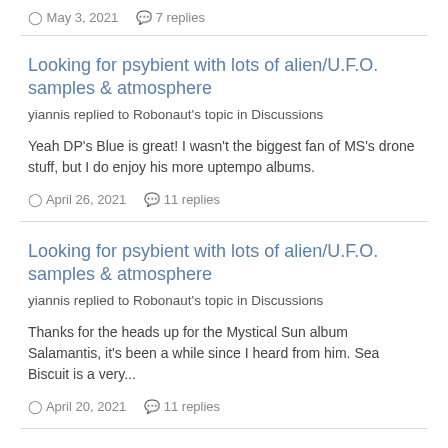May 3, 2021   7 replies
Looking for psybient with lots of alien/U.F.O. samples & atmosphere
yiannis replied to Robonaut's topic in Discussions
Yeah DP's Blue is great! I wasn't the biggest fan of MS's drone stuff, but I do enjoy his more uptempo albums.
April 26, 2021   11 replies
Looking for psybient with lots of alien/U.F.O. samples & atmosphere
yiannis replied to Robonaut's topic in Discussions
Thanks for the heads up for the Mystical Sun album Salamantis, it's been a while since I heard from him. Sea Biscuit is a very...
April 20, 2021   11 replies